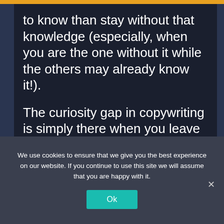to know than stay without that knowledge (especially, when you are the one without it while the others may already know it!).

The curiosity gap in copywriting is simply there when you leave some space for... being curious. Use it to your advantage by making your readers uncertain about what you
We use cookies to ensure that we give you the best experience on our website. If you continue to use this site we will assume that you are happy with it.